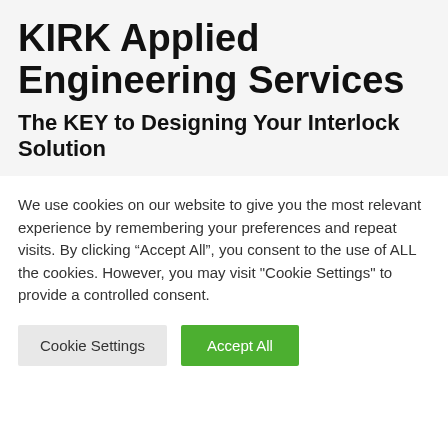KIRK Applied Engineering Services
The KEY to Designing Your Interlock Solution
We use cookies on our website to give you the most relevant experience by remembering your preferences and repeat visits. By clicking “Accept All”, you consent to the use of ALL the cookies. However, you may visit "Cookie Settings" to provide a controlled consent.
Cookie Settings | Accept All